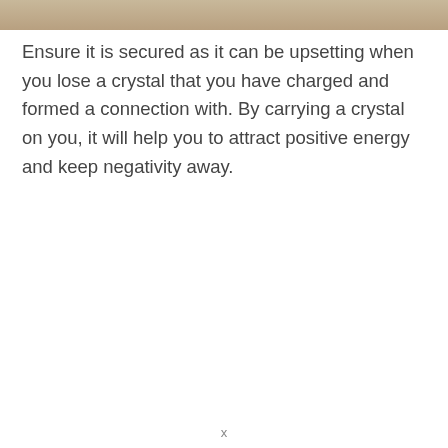[Figure (photo): Partial image at top of page with gold/brown gradient tones]
Ensure it is secured as it can be upsetting when you lose a crystal that you have charged and formed a connection with. By carrying a crystal on you, it will help you to attract positive energy and keep negativity away.
x